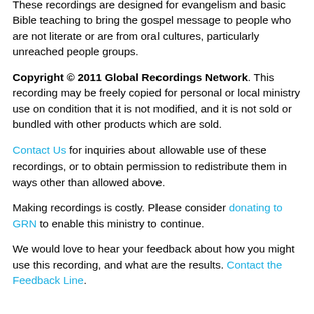These recordings are designed for evangelism and basic Bible teaching to bring the gospel message to people who are not literate or are from oral cultures, particularly unreached people groups.
Copyright © 2011 Global Recordings Network. This recording may be freely copied for personal or local ministry use on condition that it is not modified, and it is not sold or bundled with other products which are sold.
Contact Us for inquiries about allowable use of these recordings, or to obtain permission to redistribute them in ways other than allowed above.
Making recordings is costly. Please consider donating to GRN to enable this ministry to continue.
We would love to hear your feedback about how you might use this recording, and what are the results. Contact the Feedback Line.